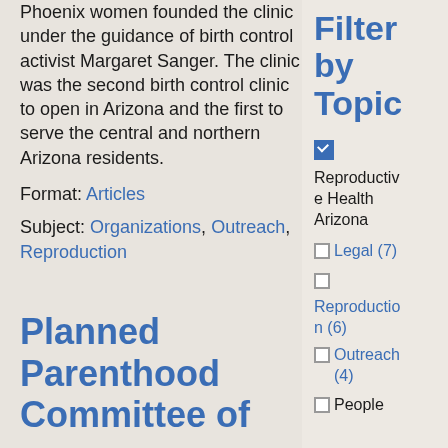Phoenix women founded the clinic under the guidance of birth control activist Margaret Sanger. The clinic was the second birth control clinic to open in Arizona and the first to serve the central and northern Arizona residents.
Format: Articles
Subject: Organizations, Outreach, Reproduction
Planned Parenthood Committee of
Filter by Topic
Reproductive Health Arizona (checked)
Legal (7)
Reproduction (6)
Outreach (4)
People